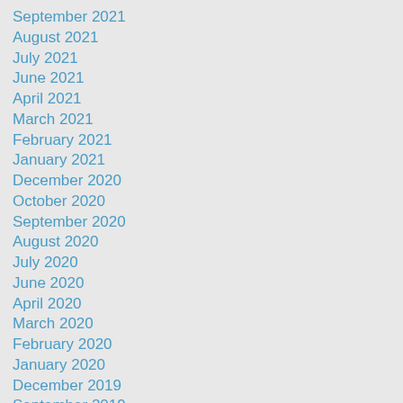September 2021
August 2021
July 2021
June 2021
April 2021
March 2021
February 2021
January 2021
December 2020
October 2020
September 2020
August 2020
July 2020
June 2020
April 2020
March 2020
February 2020
January 2020
December 2019
September 2019
August 2019